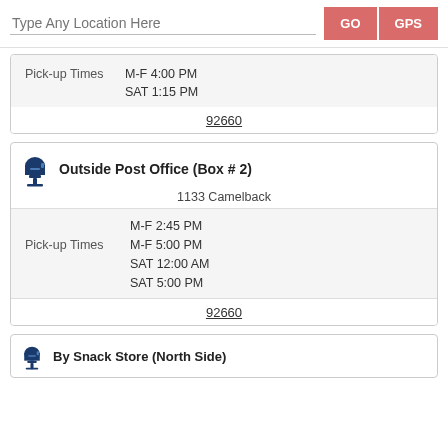Type Any Location Here | GO | GPS
Pick-up Times  M-F 4:00 PM  SAT 1:15 PM
92660
Outside Post Office (Box # 2)
1133 Camelback
Pick-up Times  M-F 2:45 PM  M-F 5:00 PM  SAT 12:00 AM  SAT 5:00 PM
92660
By Snack Store (North Side)